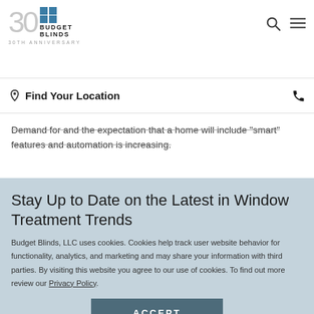Budget Blinds 30th Anniversary
Find Your Location
Demand for and the expectation that a home will include “smart” features and automation is increasing.
Stay Up to Date on the Latest in Window Treatment Trends
Budget Blinds, LLC uses cookies. Cookies help track user website behavior for functionality, analytics, and marketing and may share your information with third parties. By visiting this website you agree to our use of cookies. To find out more review our Privacy Policy.
ACCEPT